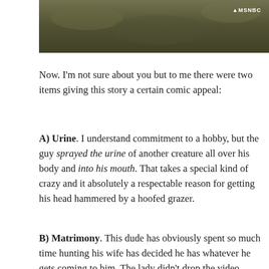[Figure (screenshot): Partial screenshot of an outdoor scene with brownish-green grass/ground, with MSNBC logo in top right corner]
Now. I'm not sure about you but to me there were two items giving this story a certain comic appeal:
A) Urine. I understand commitment to a hobby, but the guy sprayed the urine of another creature all over his body and into his mouth. That takes a special kind of crazy and it absolutely a respectable reason for getting his head hammered by a hoofed grazer.
B) Matrimony. This dude has obviously spent so much time hunting his wife has decided he has whatever he gets coming to him. The lady didn't drop the video